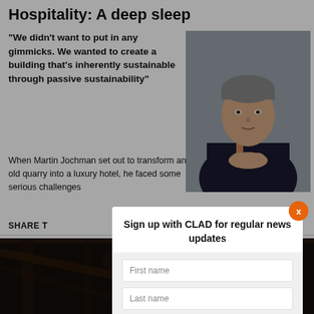Hospitality: A deep sleep
"We didn’t want to put in any gimmicks. We wanted to create a building that’s inherently sustainable through passive sustainability"
[Figure (photo): Portrait photo of Martin Jochman, a man in a dark suit with folded hands, against a grey background]
When Martin Jochman set out to transform an old quarry into a luxury hotel, he faced some serious challenges
SHARE T
[Figure (photo): Dark interior architectural photo, appears to be a historic quarry or industrial building interior]
Sign up with CLAD for regular news updates
First name
Last name
Email
SIGN UP